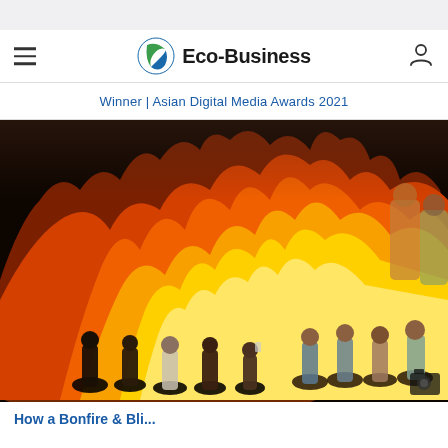Eco-Business | Winner | Asian Digital Media Awards 2021
[Figure (photo): Large crowd of people watching and photographing a huge fire or bonfire at night, with tall orange and yellow flames illuminating the scene. People in foreground are silhouetted against the bright fire.]
How a Bonfire & Bli...